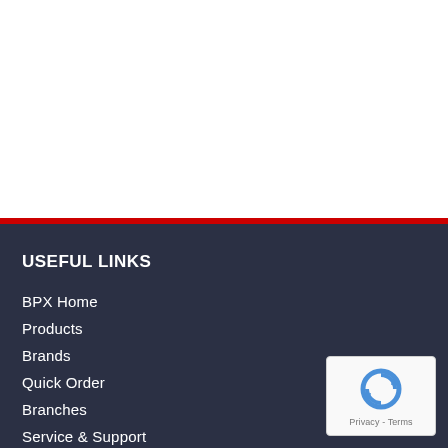USEFUL LINKS
BPX Home
Products
Brands
Quick Order
Branches
Service & Support
[Figure (logo): reCAPTCHA badge with circular arrow icon and Privacy - Terms text]